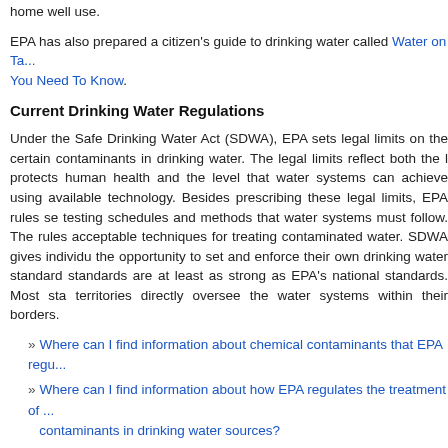home well use.
EPA has also prepared a citizen's guide to drinking water called Water on Ta... You Need To Know.
Current Drinking Water Regulations
Under the Safe Drinking Water Act (SDWA), EPA sets legal limits on the certain contaminants in drinking water. The legal limits reflect both the l protects human health and the level that water systems can achieve using available technology. Besides prescribing these legal limits, EPA rules se testing schedules and methods that water systems must follow. The rules acceptable techniques for treating contaminated water. SDWA gives individu the opportunity to set and enforce their own drinking water standard standards are at least as strong as EPA's national standards. Most sta territories directly oversee the water systems within their borders.
» Where can I find information about chemical contaminants that EPA regu...
» Where can I find information about how EPA regulates the treatment of ... contaminants in drinking water sources?
» Where can I find information about unregulated contaminants?
» More information about contaminants of interest
» Compliance Guidance
Where can I find information about chemical contaminants th... regulates?